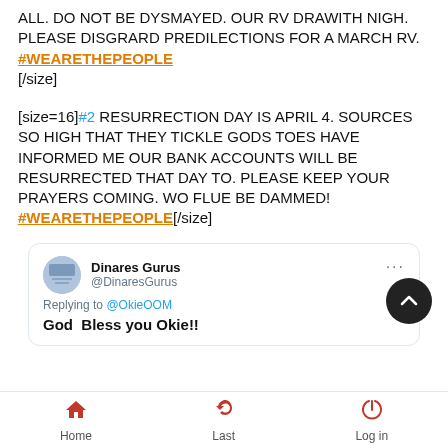ALL. DO NOT BE DYSMAYED. OUR RV DRAWITH NIGH. PLEASE DISGRARD PREDILECTIONS FOR A MARCH RV. #WEARETHEPEOPLE [/size]
[size=16]#2 RESURRECTION DAY IS APRIL 4. SOURCES SO HIGH THAT THEY TICKLE GODS TOES HAVE INFORMED ME OUR BANK ACCOUNTS WILL BE RESURRECTED THAT DAY TO. PLEASE KEEP YOUR PRAYERS COMING. WO FLUE BE DAMMED! #WEARETHEPEOPLE[/size]
[Figure (screenshot): Embedded tweet from Dinares Gurus @DinaresGurus replying to @OkieOOM saying 'God  Bless you Okie!!']
Home   Last   Log in